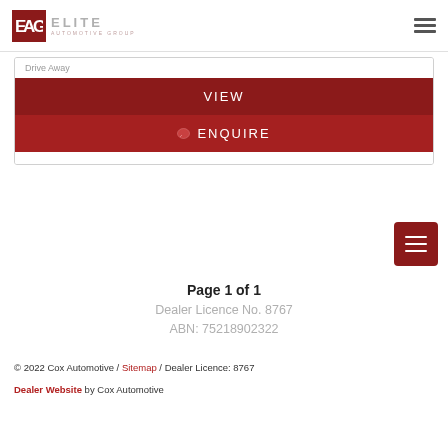[Figure (logo): Elite Automotive Group logo with EAG monogram in dark red box and ELITE AUTOMOTIVE GROUP text]
Drive Away
VIEW
ENQUIRE
Page 1 of 1
Dealer Licence No. 8767
ABN: 75218902322
© 2022 Cox Automotive / Sitemap / Dealer Licence: 8767
Dealer Website by Cox Automotive